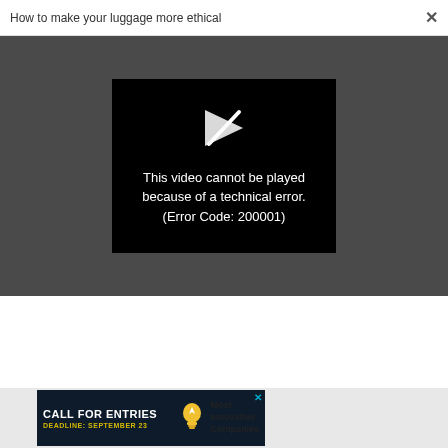How to make your luggage more ethical  ×
[Figure (screenshot): Video player showing black screen with broken play button icon and error message: This video cannot be played because of a technical error. (Error Code: 200001)]
[Figure (screenshot): Advertisement banner: CALL FOR ENTRIES DEADLINE: SEPTEMBER 23, Most Innovative Companies, with lightbulb icon]